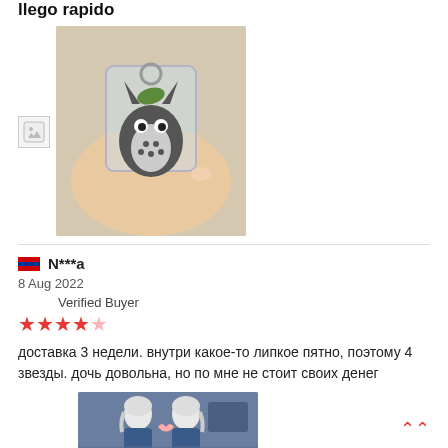llego rapido
[Figure (photo): Hand holding a small Totoro anime keychain in a clear plastic packaging]
[Figure (photo): Small broken/missing image icon placeholder]
N***a
8 Aug 2022
Verified Buyer
★★★★☆ (4 out of 5 stars)
доставка 3 недели. внутри какое-то липкое пятно, поэтому 4 звезды. дочь довольна, но по мне не стоит своих денег
[Figure (photo): Anime illustration showing two characters with white/silver hair]